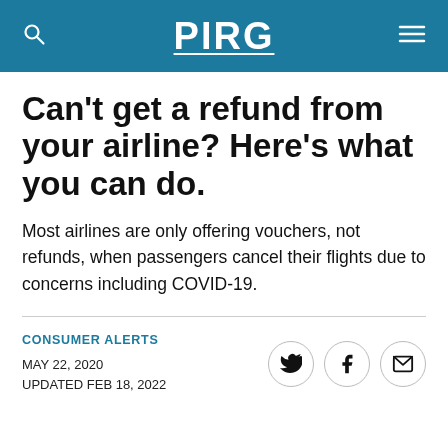PIRG
Can't get a refund from your airline? Here's what you can do.
Most airlines are only offering vouchers, not refunds, when passengers cancel their flights due to concerns including COVID-19.
CONSUMER ALERTS
MAY 22, 2020
UPDATED FEB 18, 2022